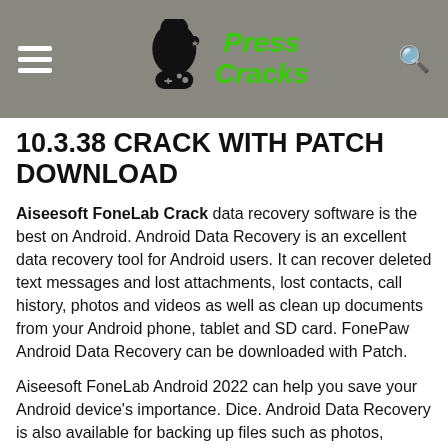Press Cracks
10.3.38 CRACK WITH PATCH DOWNLOAD
Aiseesoft FoneLab Crack data recovery software is the best on Android. Android Data Recovery is an excellent data recovery tool for Android users. It can recover deleted text messages and lost attachments, lost contacts, call history, photos and videos as well as clean up documents from your Android phone, tablet and SD card. FonePaw Android Data Recovery can be downloaded with Patch.
Aiseesoft FoneLab Android 2022 can help you save your Android device's importance. Dice. Android Data Recovery is also available for backing up files such as photos, contacts, messages, and other files.
Aiseesoft FoneLab Crack a new and powerful software